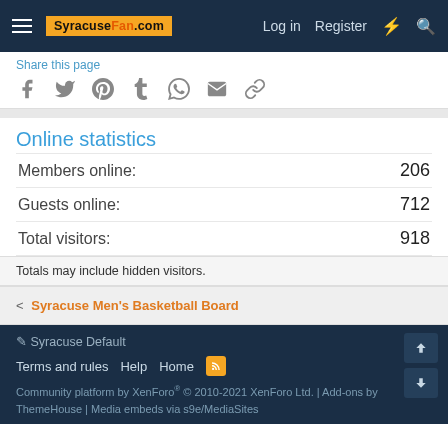SyracuseFan.com – Log in | Register
Share this page
[Figure (other): Social share icons: Facebook, Twitter, Pinterest, Tumblr, WhatsApp, Email, Link]
Online statistics
| Stat | Value |
| --- | --- |
| Members online: | 206 |
| Guests online: | 712 |
| Total visitors: | 918 |
Totals may include hidden visitors.
< Syracuse Men's Basketball Board
Syracuse Default | Terms and rules | Help | Home | Community platform by XenForo® © 2010-2021 XenForo Ltd. | Add-ons by ThemeHouse | Media embeds via s9e/MediaSites